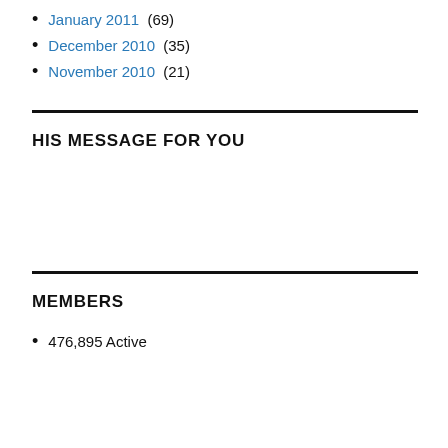January 2011 (69)
December 2010 (35)
November 2010 (21)
HIS MESSAGE FOR YOU
MEMBERS
476,895 Active